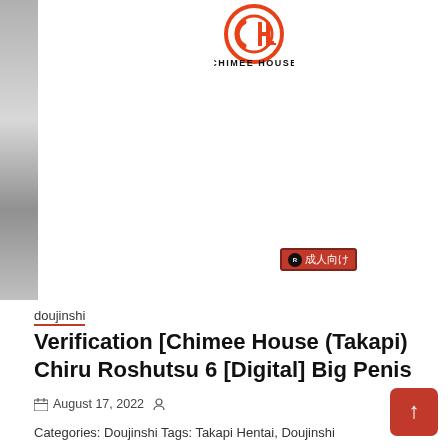[Figure (logo): Chimee House circular logo in red/orange with CH monogram and 'CHIMEE HOUSE' text below in bold]
[Figure (illustration): Left strip showing partial manga/doujinshi page artwork in grayscale]
[Figure (other): Adult content badge showing red rectangle with Japanese text 成人向け (for adults)]
doujinshi
Verification [Chimee House (Takapi) Chiru Roshutsu 6 [Digital] Big Penis
August 17, 2022
Categories: Doujinshi Tags: Takapi Hentai, Doujinshi